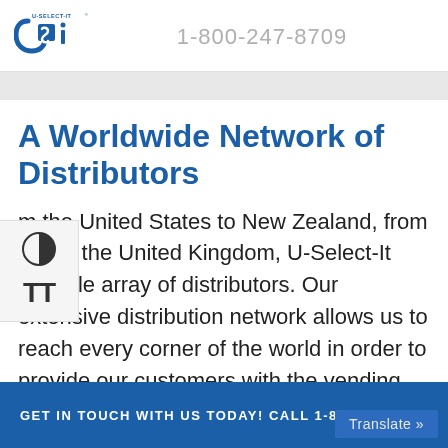U-Select-It logo | 1-800-247-8709
A Worldwide Network of Distributors
From the United States to New Zealand, from Brazil to the United Kingdom, U-Select-It has a wide array of distributors. Our extensive distribution network allows us to reach every corner of the world in order to provide our customers with the vending equipment they
GET IN TOUCH WITH US TODAY! CALL 1-800-247-8709